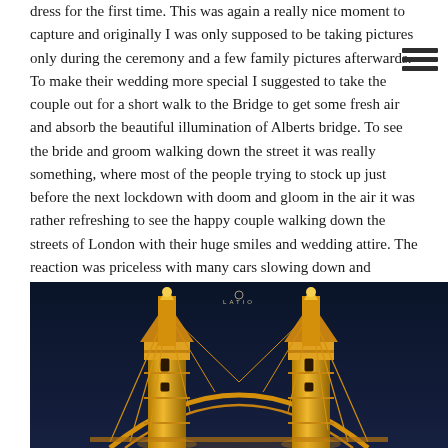dress for the first time.  This was again a really nice moment to capture and originally I was only supposed to be taking pictures only during the ceremony and a few family pictures afterwards. To make their wedding more special I suggested to take the couple out for a short walk to the Bridge to get some fresh air and absorb the beautiful illumination of Alberts bridge. To see the bride and groom walking down the street it was really something, where most of the people trying to stock up just before the next lockdown with doom and gloom in the air it was rather refreshing to see the happy couple walking down the streets of London with their huge smiles and wedding attire.  The reaction was priceless with many cars slowing down and shouting their congratulations which made Steph and Brad's day really special. I really think they have brought a bit of hope and spark of normality to all the passersby who cheer for them as they walked by.
[Figure (photo): Night photograph of Albert Bridge in London, illuminated in golden light against a deep dark blue night sky. The ornate Victorian Gothic bridge towers and arches are brightly lit, with cables and ironwork visible. A small logo reading 'LAZIO' appears at the top center of the image.]